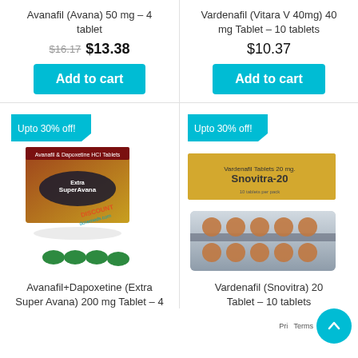Avanafil (Avana) 50 mg – 4 tablet
$16.17 $13.38
Add to cart
Vardenafil (Vitara V 40mg) 40 mg Tablet – 10 tablets
$10.37
Add to cart
[Figure (photo): Extra Super Avana tablet blister pack with green tablets and product box, with 'Upto 30% off!' badge and DISCOUNT dcnemeds.com watermark]
[Figure (photo): Snovitra-20 Vardenafil Tablets 20mg blister pack and box, with 'Upto 30% off!' badge]
Avanafil+Dapoxetine (Extra Super Avana) 200 mg Tablet – 4
Vardenafil (Snovitra) 20 Tablet – 10 tablets